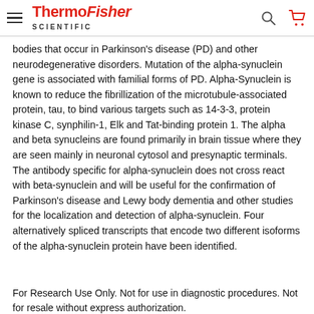ThermoFisher Scientific
bodies that occur in Parkinson's disease (PD) and other neurodegenerative disorders. Mutation of the alpha-synuclein gene is associated with familial forms of PD. Alpha-Synuclein is known to reduce the fibrillization of the microtubule-associated protein, tau, to bind various targets such as 14-3-3, protein kinase C, synphilin-1, Elk and Tat-binding protein 1. The alpha and beta synucleins are found primarily in brain tissue where they are seen mainly in neuronal cytosol and presynaptic terminals. The antibody specific for alpha-synuclein does not cross react with beta-synuclein and will be useful for the confirmation of Parkinson's disease and Lewy body dementia and other studies for the localization and detection of alpha-synuclein. Four alternatively spliced transcripts that encode two different isoforms of the alpha-synuclein protein have been identified.
For Research Use Only. Not for use in diagnostic procedures. Not for resale without express authorization.